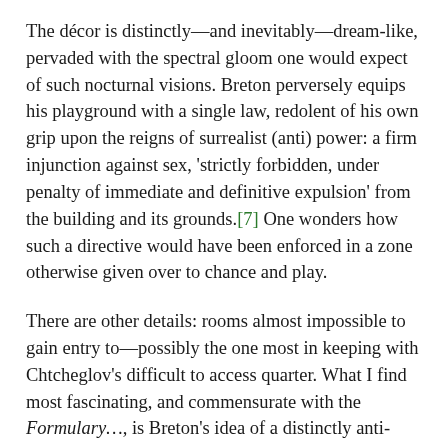The décor is distinctly—and inevitably—dream-like, pervaded with the spectral gloom one would expect of such nocturnal visions. Breton perversely equips his playground with a single law, redolent of his own grip upon the reigns of surrealist (anti) power: a firm injunction against sex, 'strictly forbidden, under penalty of immediate and definitive expulsion' from the building and its grounds.[7] One wonders how such a directive would have been enforced in a zone otherwise given over to chance and play.
There are other details: rooms almost impossible to gain entry to—possibly the one most in keeping with Chtcheglov's difficult to access quarter. What I find most fascinating, and commensurate with the Formulary…, is Breton's idea of a distinctly anti-capitalist architecture as re-enchantment, as the recovery and practical elaboration of those fantastical stories we were told as children—stories whose main failing is precisely their role as forms of inoculation, subservient to the rapidly approaching adult world of wage labour and other